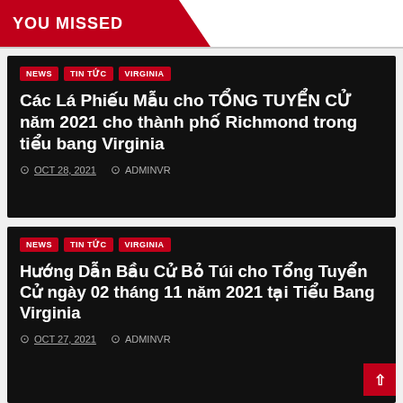YOU MISSED
Các Lá Phiếu Mẫu cho TỔNG TUYỂN CỬ năm 2021 cho thành phố Richmond trong tiểu bang Virginia
OCT 28, 2021  ADMINVR
Hướng Dẫn Bầu Cử Bỏ Túi cho Tổng Tuyển Cử ngày 02 tháng 11 năm 2021 tại Tiểu Bang Virginia
OCT 27, 2021  ADMINVR